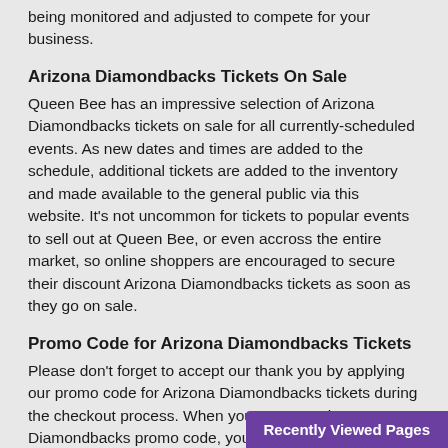being monitored and adjusted to compete for your business.
Arizona Diamondbacks Tickets On Sale
Queen Bee has an impressive selection of Arizona Diamondbacks tickets on sale for all currently-scheduled events. As new dates and times are added to the schedule, additional tickets are added to the inventory and made available to the general public via this website. It's not uncommon for tickets to popular events to sell out at Queen Bee, or even accross the entire market, so online shoppers are encouraged to secure their discount Arizona Diamondbacks tickets as soon as they go on sale.
Promo Code for Arizona Diamondbacks Tickets
Please don't forget to accept our thank you by applying our promo code for Arizona Diamondbacks tickets during the checkout process. When you use our Arizona Diamondbacks promo code, you receive additional savings on already discounted seats! The amount of the discount depends on market conditions at the time. There is no minimum purchase or a limit to how many you can buy.
Cheap Arizona Diamondbacks Pr
Recently Viewed Pages